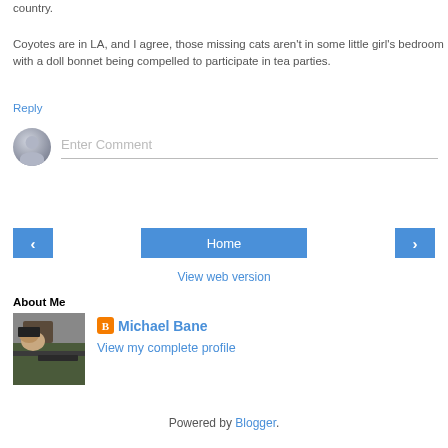country.

Coyotes are in LA, and I agree, those missing cats aren't in some little girl's bedroom with a doll bonnet being compelled to participate in tea parties.
Reply
[Figure (illustration): Comment input box with avatar and 'Enter Comment' placeholder]
[Figure (infographic): Navigation bar with back arrow, Home button, and forward arrow]
View web version
About Me
[Figure (photo): Photo of a person shooting a rifle at a range]
Michael Bane
View my complete profile
Powered by Blogger.